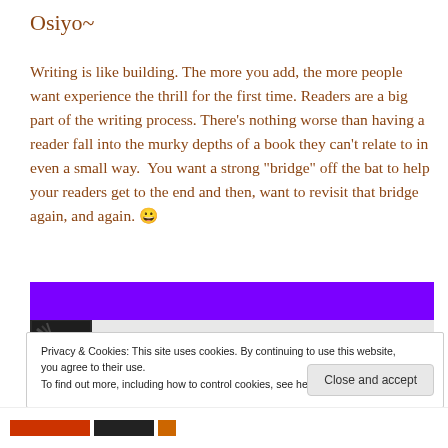Osiyo~
Writing is like building. The more you add, the more people want experience the thrill for the first time. Readers are a big part of the writing process. There’s nothing worse than having a reader fall into the murky depths of a book they can't relate to in even a small way.  You want a strong “bridge” off the bat to help your readers get to the end and then, want to revisit that bridge again, and again. 😀
[Figure (screenshot): NaNoWriMo Day 11 banner image with purple header bar and dark left section with abstract dark imagery, white section showing bold text 'NaNoWriMo Day 11']
Privacy & Cookies: This site uses cookies. By continuing to use this website, you agree to their use.
To find out more, including how to control cookies, see here: Cookie Policy
Close and accept